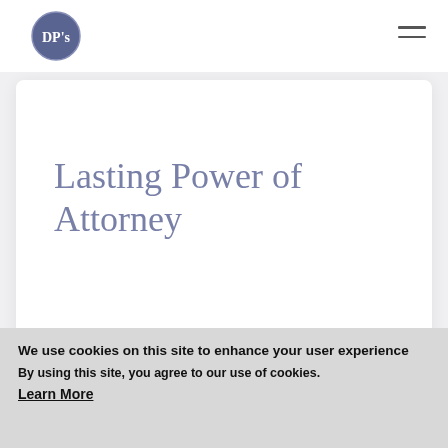[Figure (logo): DP's circular logo — dark navy/blue circle with white text 'DP's']
Lasting Power of Attorney
We use cookies on this site to enhance your user experience
By using this site, you agree to our use of cookies.
Learn More